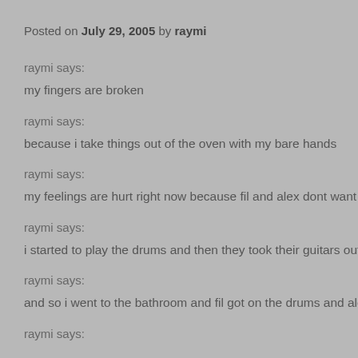Posted on July 29, 2005 by raymi
raymi says:
my fingers are broken
raymi says:
because i take things out of the oven with my bare hands
raymi says:
my feelings are hurt right now because fil and alex dont want to play
raymi says:
i started to play the drums and then they took their guitars outside
raymi says:
and so i went to the bathroom and fil got on the drums and alex is p
raymi says: